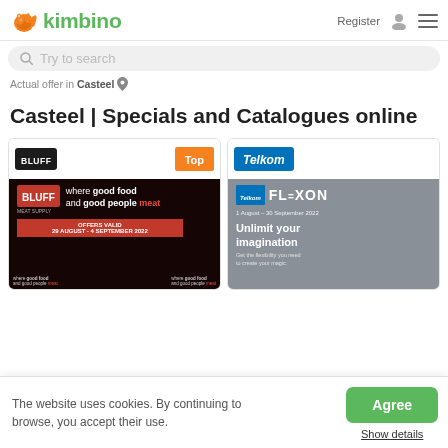kimbino — Register | menu
Try to search
Actual offer in Casteel
Casteel | Specials and Catalogues online
[Figure (screenshot): BLUFF Meat Supply promotional catalogue card with 'Top' orange badge. Ad shows: where good food and good people meat. OFFERS VALID 29 AUGUST - 4 SEPTEMBER 2022]
[Figure (screenshot): Telkom FLEXON catalogue card. Shows smiling man with glasses. Text: Unlimit your imagination. Get the flexibility you need to create your magic.]
The website uses cookies. By continuing to browse, you accept their use.
Agree
Show details